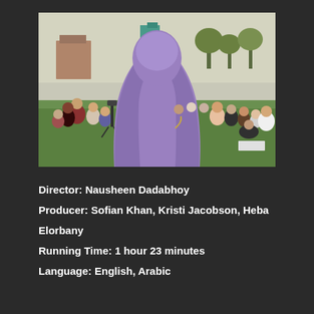[Figure (photo): A person in a purple/lavender full-length robe and head covering seen from behind, facing a crowd of people gathered on a grassy area outdoors, with buildings and trees visible in the background.]
Director: Nausheen Dadabhoy
Producer: Sofian Khan, Kristi Jacobson, Heba Elorbany
Running Time: 1 hour 23 minutes
Language: English, Arabic